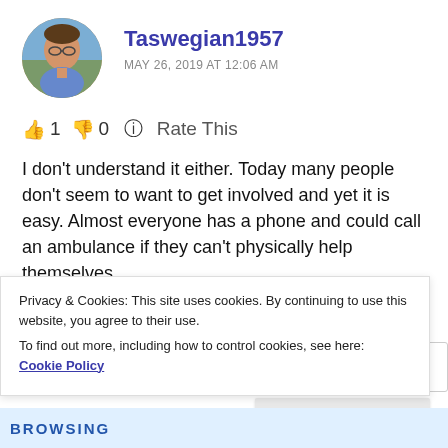[Figure (photo): Circular avatar photo of a person (Taswegian1957), appears to be an older individual in a blue shirt outdoors]
Taswegian1957
MAY 26, 2019 AT 12:06 AM
👍 1 👎 0 ℹ Rate This
I don't understand it either. Today many people don't seem to want to get involved and yet it is easy. Almost everyone has a phone and could call an ambulance if they can't physically help themselves.
Luckily there are still many people who do care about others in those small ways. Naomi was just telling me the other day about how her shopping bag broke in the car
Privacy & Cookies: This site uses cookies. By continuing to use this website, you agree to their use.
To find out more, including how to control cookies, see here: Cookie Policy
Close and accept